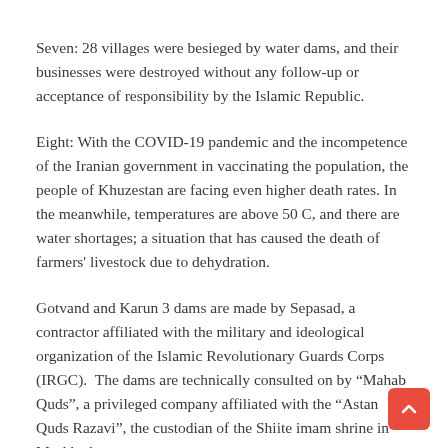Seven: 28 villages were besieged by water dams, and their businesses were destroyed without any follow-up or acceptance of responsibility by the Islamic Republic.
Eight: With the COVID-19 pandemic and the incompetence of the Iranian government in vaccinating the population, the people of Khuzestan are facing even higher death rates. In the meanwhile, temperatures are above 50 C, and there are water shortages; a situation that has caused the death of farmers' livestock due to dehydration.
Gotvand and Karun 3 dams are made by Sepasad, a contractor affiliated with the military and ideological organization of the Islamic Revolutionary Guards Corps (IRGC).  The dams are technically consulted on by "Mahab Quds", a privileged company affiliated with the "Astan Quds Razavi", the custodian of the Shiite imam shrine in Mashhad.